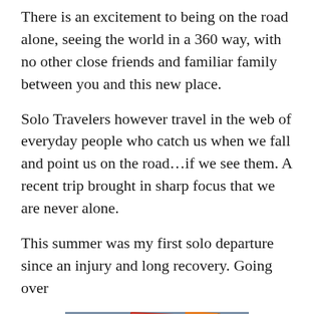There is an excitement to being on the road alone, seeing the world in a 360 way, with no other close friends and familiar family between you and this new place.
Solo Travelers however travel in the web of everyday people who catch us when we fall and point us on the road…if we see them. A recent trip brought in sharp focus that we are never alone.
This summer was my first solo departure since an injury and long recovery. Going over
[Figure (photo): A collection of travel guidebooks spread out on a surface, including Frommer's Austria, British, France, and a POST-HOTEL booklet, along with other travel materials and a map.]